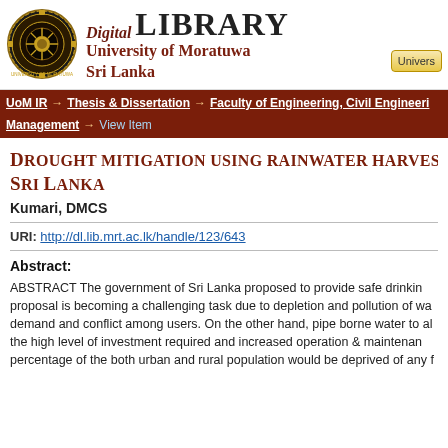[Figure (logo): University of Moratuwa crest/seal logo]
Digital LIBRARY University of Moratuwa Sri Lanka
UoM IR → Thesis & Dissertation → Faculty of Engineering, Civil Engineering Management → View Item
Drought mitigation using rainwater harvesting in Sri Lanka
Kumari, DMCS
URI: http://dl.lib.mrt.ac.lk/handle/123/643
Abstract:
ABSTRACT The government of Sri Lanka proposed to provide safe drinking water… proposal is becoming a challenging task due to depletion and pollution of water… demand and conflict among users. On the other hand, pipe borne water to all… the high level of investment required and increased operation & maintenance… percentage of the both urban and rural population would be deprived of any f…